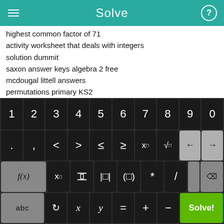Solve
highest common factor of 71
activity worksheet that deals with integers
solution dummit
saxon answer keys algebra 2 free
mcdougal littell answers
permutations primary KS2
how to solve a circle graph in ratio
simplifying equations with fraction powers
square root exponent
11+ FREE MATHS practice papers
[Figure (screenshot): Math keyboard with number keys 1-9,0; symbol keys including < > ≤ ≥ x^ √ backspace arrow; function keys f(x), subscript x, fraction, absolute value, bracket, *, /; delete key; bottom row: abc, undo, x, y, =, +, -, Solve! button]